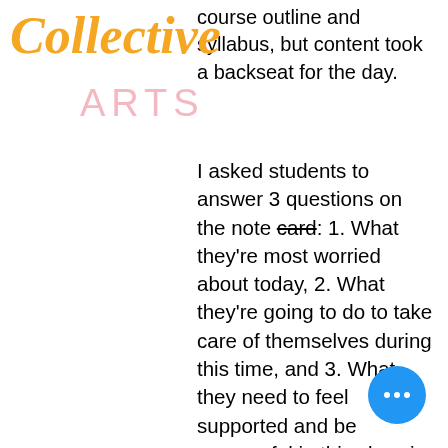[Figure (logo): Collective Arts logo with orange cursive 'Collective' text overlapping pink 'ARTS' text]
course outline and syllabus, but content took a backseat for the day.
I asked students to answer 3 questions on the note card: 1. What they're most worried about today, 2. What they're going to do to take care of themselves during this time, and 3. What they need to feel supported and be successful in this class in an online format. This provided a starting point for the rest of the semester, and allowed us to confront our fears head on. Students stressed their appreciation of the transparency and authenticity of the conversation, and even though we